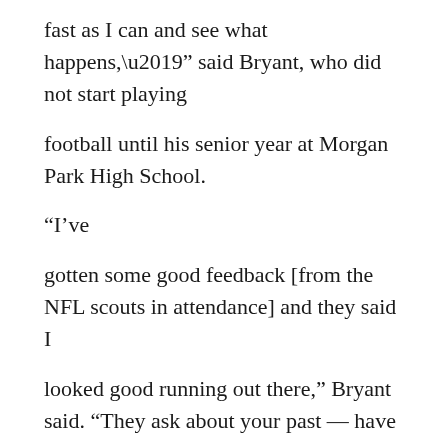fast as I can and see what happens,’” said Bryant, who did not start playing
football until his senior year at Morgan Park High School.
“I’ve
gotten some good feedback [from the NFL scouts in attendance] and they said I
looked good running out there,” Bryant said. “They ask about your past — have
you been in trouble — and I’m lucky enough to have a clean record so they know